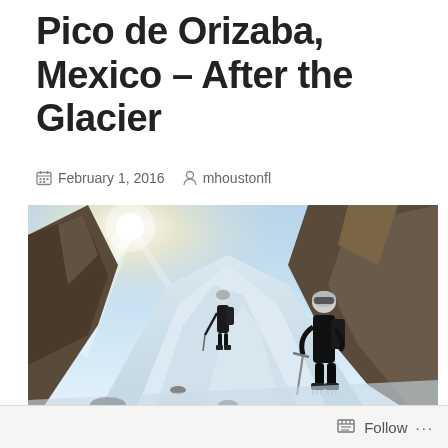Pico de Orizaba, Mexico – After the Glacier
February 1, 2016   mhoustonfl
[Figure (photo): Two mountaineers in black gear and helmets climbing a steep snow and rock slope on Pico de Orizaba, with bright sunlight and rugged mountain terrain in the background.]
Follow